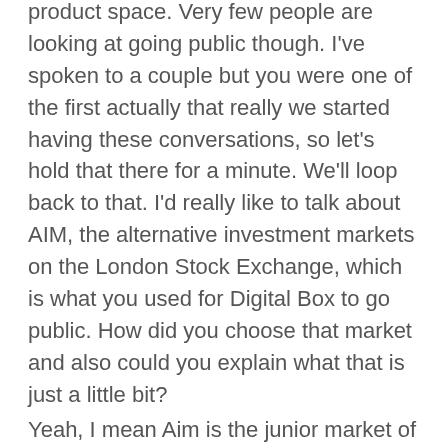product space. Very few people are looking at going public though. I've spoken to a couple but you were one of the first actually that really we started having these conversations, so let's hold that there for a minute. We'll loop back to that. I'd really like to talk about AIM, the alternative investment markets on the London Stock Exchange, which is what you used for Digital Box to go public. How did you choose that market and also could you explain what that is just a little bit?
Yeah, I mean Aim is the junior market of